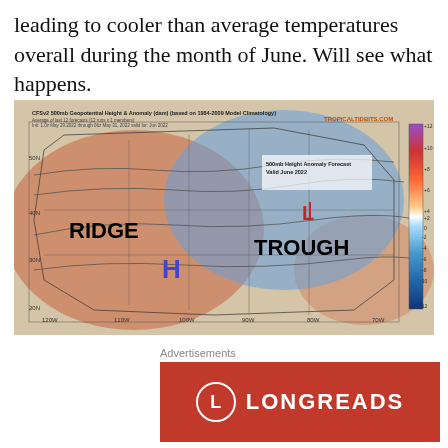leading to cooler than average temperatures overall during the month of June. Will see what happens.
[Figure (map): CFSv2 500mb Geopotential Height & Anomaly (dam) map for June 2022 from TropicalTidbits.com. Shows RIDGE label over western US (warm/orange anomaly) and TROUGH label over central-eastern US (cool/blue anomaly). Blue H symbol in southwest, red L symbol in central US. Color scale from -12 to +12 dam.]
Advertisements
[Figure (logo): Longreads advertisement banner — red background with circular L logo and LONGREADS text in white]